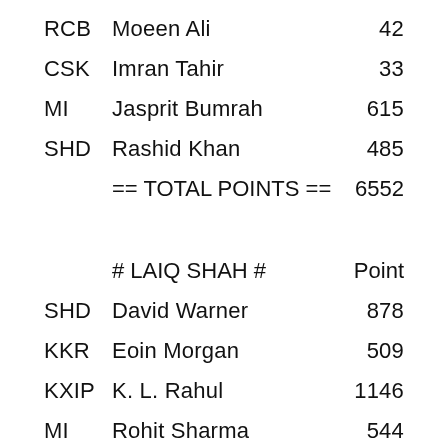RCB  Moeen Ali  42
CSK  Imran Tahir  33
MI  Jasprit Bumrah  615
SHD  Rashid Khan  485
== TOTAL POINTS ==  6552
# LAIQ SHAH #  Point
SHD  David Warner  878
KKR  Eoin Morgan  509
KXIP  K. L. Rahul  1146
MI  Rohit Sharma  544
DC  Shikhar Dhawan  1068
RR  Steve Smith  481